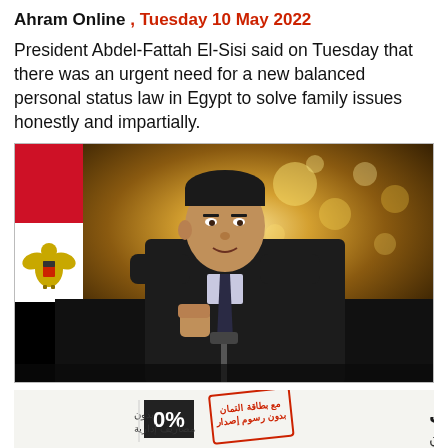Ahram Online , Tuesday 10 May 2022
President Abdel-Fattah El-Sisi said on Tuesday that there was an urgent need for a new balanced personal status law in Egypt to solve family issues honestly and impartially.
[Figure (photo): President Abdel-Fattah El-Sisi speaking at a podium with microphone, wearing a dark suit and tie, Egyptian flag visible on the left, ornate chandelier/bokeh gold background]
[Figure (other): Advertisement banner in Arabic for a loan product. Arabic text reads: قرضك مش ناقص ولا مليون (Your loan is not missing a million). 0% badge, red stamp, Arabic sub-text about no administrative fees and credit card.]